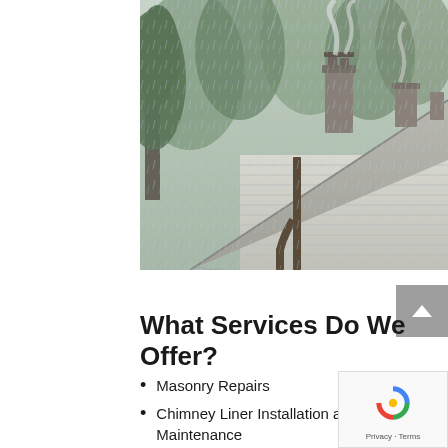[Figure (photo): A house rooftop with two chimneys in heavy rain. Trees in the background with mist. Rain falling heavily, gutters visible. Dark and misty forest in background.]
What Services Do We Offer?
Masonry Repairs
Chimney Liner Installation and Maintenance